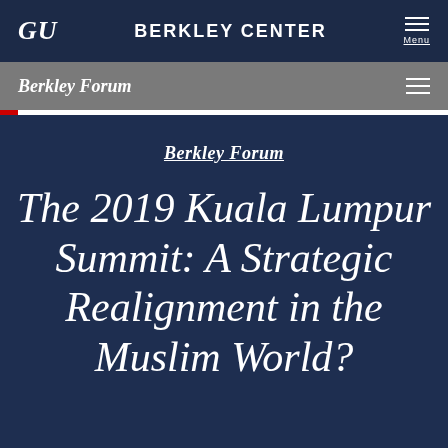GU   BERKLEY CENTER   Menu
Berkley Forum
Berkley Forum
The 2019 Kuala Lumpur Summit: A Strategic Realignment in the Muslim World?